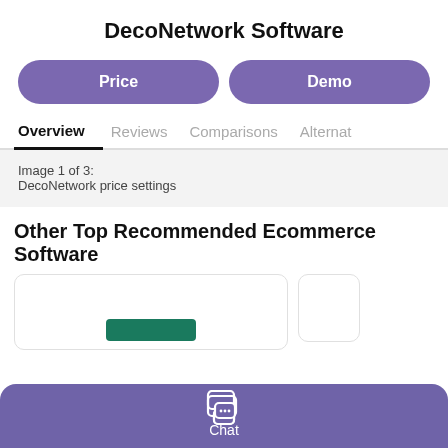DecoNetwork Software
Price
Demo
Overview
Reviews
Comparisons
Alternat
Image 1 of 3:
DecoNetwork price settings
Other Top Recommended Ecommerce Software
[Figure (screenshot): Card area with a dark green rectangle bar visible, partially showing product card]
Chat